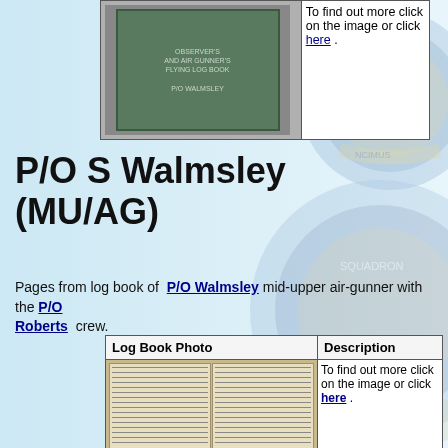[Figure (photo): Photo of a log book cover (blue/green book)]
To find out more click on the image or click here .
P/O S Walmsley (MU/AG)
Pages from log book of P/O Walmsley mid-upper air-gunner with the P/O Roberts crew.
| Log Book Photo | Description |
| --- | --- |
| [photo of log book pages] | To find out more click on the image or click here . |
[Figure (photo): Open log book pages showing handwritten flight records]